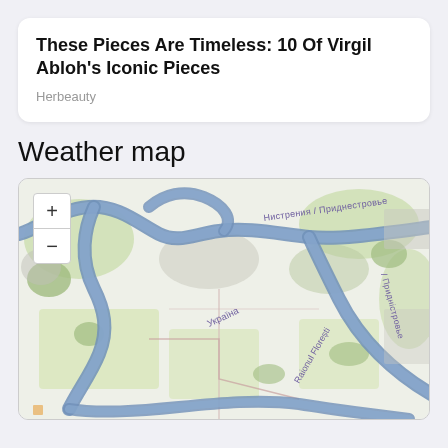These Pieces Are Timeless: 10 Of Virgil Abloh's Iconic Pieces
Herbeauty
Weather map
[Figure (map): OpenStreetMap showing a river (Нистрения / Приднестровье / Придністровье) winding through a rural landscape with fields and forests. Labels include Україна on the left and Raionul Florești at the bottom. Map has zoom + and - controls in the top left.]